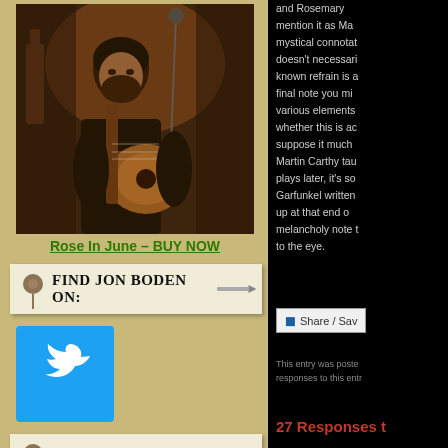[Figure (photo): Musician playing guitar on stage in dark setting]
Rose In June – BUY NOW
Find Jon Boden on:
[Figure (logo): Twitter bird logo in blue square]
AFSAD Albums
[Figure (photo): Album strip showing multiple album covers]
and Rosemary mention it as Ma mystical connotations doesn't necessarily known refrain is a final note you mi various elements whether this is ac suppose it much Martin Carthy tau plays later, it's so Garfunkel written up at that end o melancholy note t to the eye.
Share / Save
This entry was posted responses to this entry
27 Responses to